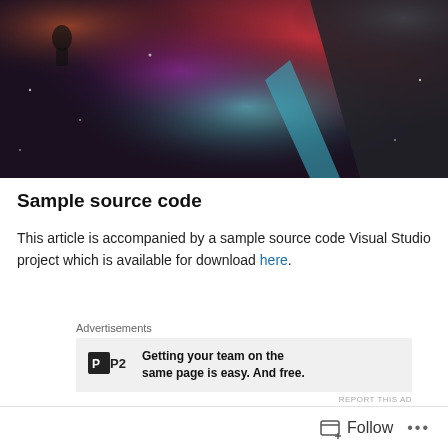[Figure (photo): Dark atmospheric concert/space scene with red, blue and purple lighting effects, silhouetted figure visible at top left]
Sample source code
This article is accompanied by a sample source code Visual Studio project which is available for download here.
Advertisements
[Figure (screenshot): P2 advertisement: Getting your team on the same page is easy. And free.]
Follow ...